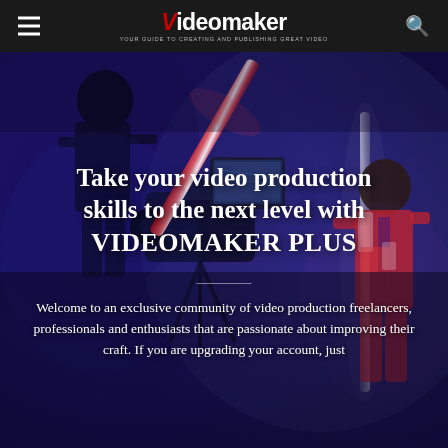Videomaker — YOUR GUIDE TO CREATING AND PUBLISHING GREAT VIDEO
[Figure (photo): Dark studio background with camera equipment silhouettes, a person operating a cinema camera with a red/pink LED light bar, and another person in patterned clothing on the right, lit in blue/purple tones]
Take your video production skills to the next level with VIDEOMAKER PLUS
Welcome to an exclusive community of video production freelancers, professionals and enthusiasts that are passionate about improving their craft. If you are upgrading your account, just